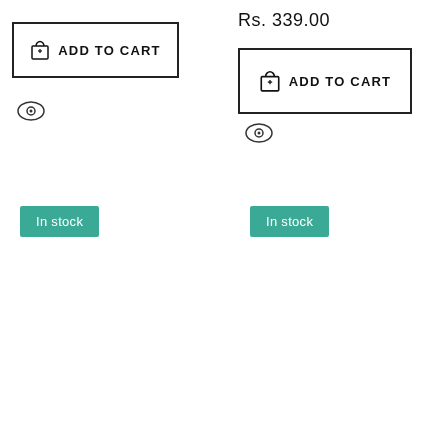Rs. 339.00
[Figure (screenshot): ADD TO CART button with shopping bag icon, left side, outlined border]
[Figure (screenshot): ADD TO CART button with shopping bag icon, right side, outlined border]
[Figure (other): Eye/quick-view icon, left column]
[Figure (other): Eye/quick-view icon, right column]
In stock
In stock